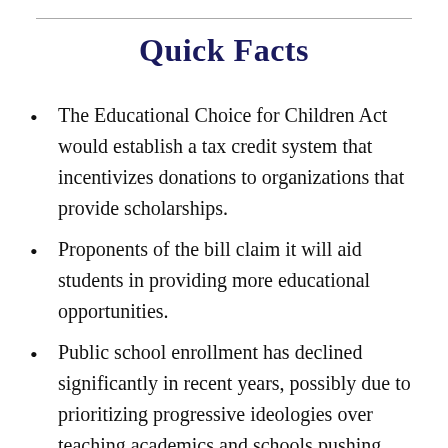Quick Facts
The Educational Choice for Children Act would establish a tax credit system that incentivizes donations to organizations that provide scholarships.
Proponents of the bill claim it will aid students in providing more educational opportunities.
Public school enrollment has declined significantly in recent years, possibly due to prioritizing progressive ideologies over teaching academics and schools pushing parents out of